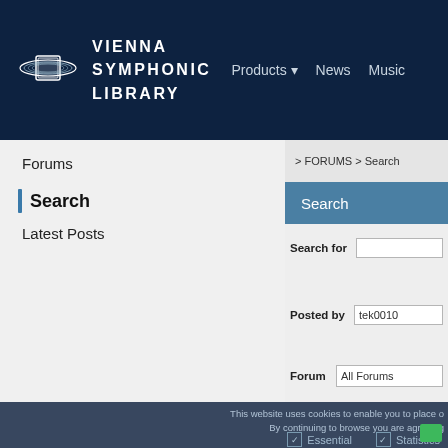[Figure (logo): Vienna Symphonic Library logo with Saturn-like planet and text VIENNA SYMPHONIC LIBRARY]
Products ▼   News   Music
Forums
Search
Latest Posts
> FORUMS > Search
Search
Search for
Posted by   tek0010
Forum   All Forums
This website uses cookies to enable you to place o
By continuing to browse you are agreeing
✓ Essential   ✓ Statistics